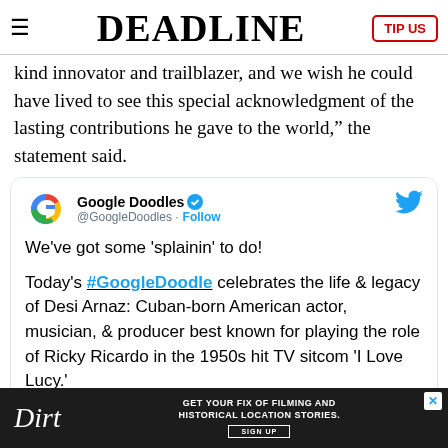DEADLINE
kind innovator and trailblazer, and we wish he could have lived to see this special acknowledgment of the lasting contributions he gave to the world," the statement said.
[Figure (screenshot): Tweet from Google Doodles (@GoogleDoodles) with Follow button and Twitter bird icon. Tweet text: We've got some 'splainin' to do! Today's #GoogleDoodle celebrates the life & legacy of Desi Arnaz: Cuban-born American actor, musician, & producer best known for playing the role of Ricky Ricardo in the 1950s hit TV sitcom 'I Love Lucy.']
[Figure (infographic): Dirt advertisement banner: GET YOUR FIX OF FILMING AND HISTORICAL LOCATION STORIES. SIGN UP]